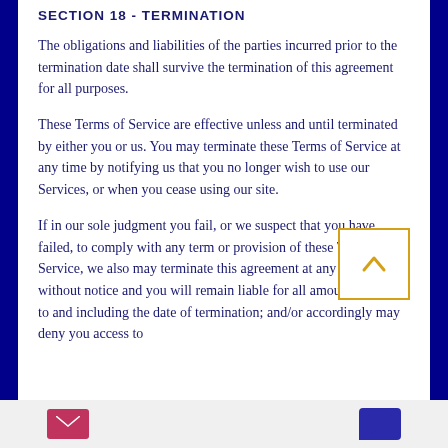SECTION 18 - TERMINATION
The obligations and liabilities of the parties incurred prior to the termination date shall survive the termination of this agreement for all purposes.
These Terms of Service are effective unless and until terminated by either you or us. You may terminate these Terms of Service at any time by notifying us that you no longer wish to use our Services, or when you cease using our site.
If in our sole judgment you fail, or we suspect that you have failed, to comply with any term or provision of these Terms of Service, we also may terminate this agreement at any time without notice and you will remain liable for all amounts due up to and including the date of termination; and/or accordingly may deny you access to
[Figure (other): Scroll-to-top button: orange bordered square with upward-pointing chevron arrow in orange]
[Figure (other): Bottom toolbar with pink envelope/mail icon on left and blue chat bubble icon on right]